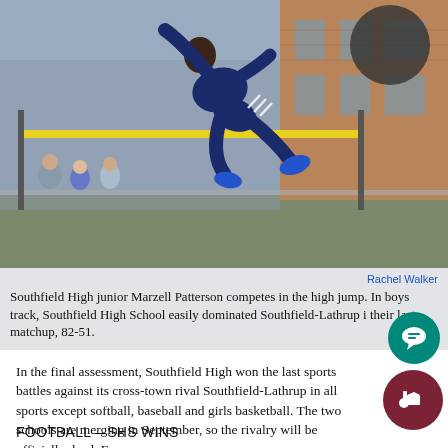[Figure (photo): Athlete performing a high jump over a yellow bar at an outdoor track and field event. A brick school building is visible in the background along with spectators.]
Rachel Walker
Southfield High junior Marzell Patterson competes in the high jump. In boys track, Southfield High School easily dominated Southfield-Lathrup i their last matchup, 82-51.
In the final assessment, Southfield High won the last sports battles against its cross-town rival Southfield-Lathrup in all sports except softball, baseball and girls basketball. The two schools are merging in September, so the rivalry will be officially dead. Forever.
FOOTBALL – SHS WINS